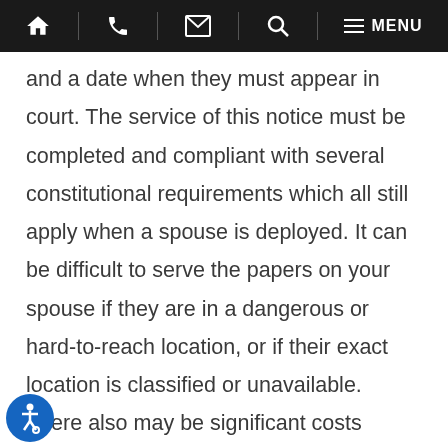Home | Phone | Email | Search | Menu
and a date when they must appear in court. The service of this notice must be completed and compliant with several constitutional requirements which all still apply when a spouse is deployed. It can be difficult to serve the papers on your spouse if they are in a dangerous or hard-to-reach location, or if their exact location is classified or unavailable. There also may be significant costs associated with having process served in a foreign country, particularly taking danger and difficulty of service